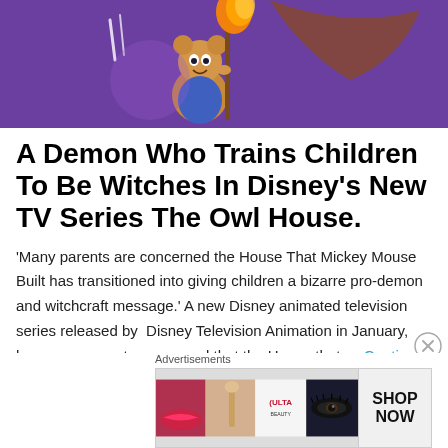[Figure (illustration): Animated Disney character illustration from The Owl House — a cartoon character holding a staff with purple/orange magical background]
A Demon Who Trains Children To Be Witches In Disney's New TV Series The Owl House.
'Many parents are concerned the House That Mickey Mouse Built has transitioned into giving children a bizarre pro-demon and witchcraft message.' A new Disney animated television series released by Disney Television Animation in January, has many parents concerned that the House that … Continue reading →
[Figure (advertisement): Ulta Beauty advertisement banner showing close-up eye makeup and lip makeup images with SHOP NOW text]